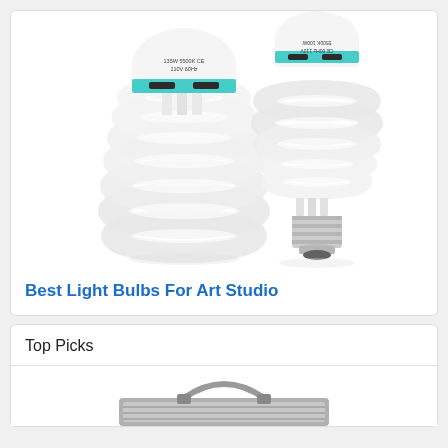[Figure (photo): Two spiral CFL daylight bulbs for photography/art studio use. The larger bulb on the left is labeled 135W 5500K 110V 60Hz with CE marking and a teal/cyan band near the top. The smaller bulb on the right is positioned upside down showing the same label text mirrored, also with a teal band, and has a standard E27 base visible at the bottom.]
Best Light Bulbs For Art Studio
Top Picks
[Figure (photo): Partial image of a photography light panel or LED studio light with a carry handle, showing the top portion of the fixture.]